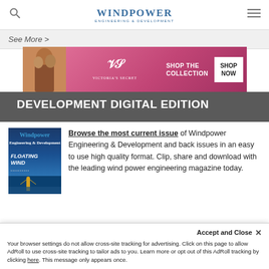Windpower ENGINEERING & DEVELOPMENT
See More >
[Figure (photo): Victoria's Secret advertisement banner with model, VS logo, 'SHOP THE COLLECTION' text and 'SHOP NOW' button]
DEVELOPMENT DIGITAL EDITION
[Figure (photo): Windpower Engineering & Development magazine cover featuring 'FLOATING WIND' issue with offshore wind turbine in blue ocean]
Browse the most current issue of Windpower Engineering & Development and back issues in an easy to use high quality format. Clip, share and download with the leading wind power engineering magazine today.
Accept and Close ✕
Your browser settings do not allow cross-site tracking for advertising. Click on this page to allow AdRoll to use cross-site tracking to tailor ads to you. Learn more or opt out of this AdRoll tracking by clicking here. This message only appears once.